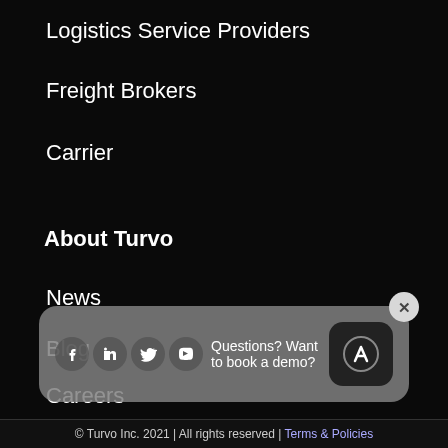Logistics Service Providers
Freight Brokers
Carrier
About Turvo
News
Blog
Careers
Contact
Help Center
[Figure (screenshot): A popup overlay with social media icons (Facebook, LinkedIn, Twitter, YouTube) and text 'Questions? Want to book a demo?' with a close button and a chat/lambda button]
© Turvo Inc. 2021 | All rights reserved | Terms & Policies